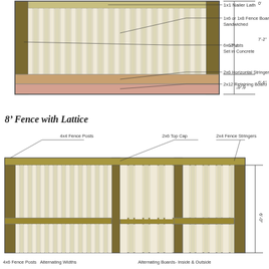[Figure (engineering-diagram): Top engineering diagram showing an 8-foot fence with lattice cross-section. Labels indicate: 1x1 Nailer Lath, 1x6 or 1x8 Fence Boards Sandwiched, 6x6 Posts Set in Concrete, 2x6 Horizontal Stringer, 2x12 Retaining Board. Dimension markings on right side show 7'-2" and 6'-6".]
8' Fence with Lattice
[Figure (engineering-diagram): Bottom engineering diagram showing fence front elevation with alternating boards inside and outside. Labels indicate: 4x4 Fence Posts, 2x6 Top Cap, 2x4 Fence Stringers, Alternating Boards- Inside & Outside, 4x6 Fence Posts, Alternating Widths. Dimension marking on right side shows 6'-0".]